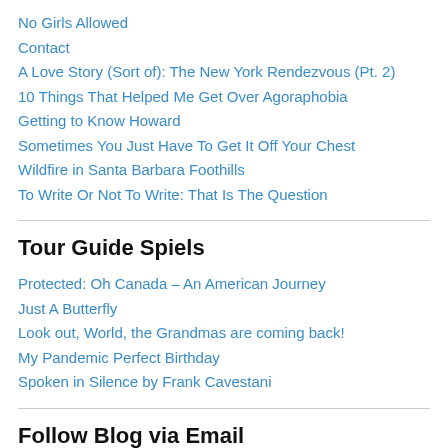No Girls Allowed
Contact
A Love Story (Sort of): The New York Rendezvous (Pt. 2)
10 Things That Helped Me Get Over Agoraphobia
Getting to Know Howard
Sometimes You Just Have To Get It Off Your Chest
Wildfire in Santa Barbara Foothills
To Write Or Not To Write: That Is The Question
Tour Guide Spiels
Protected: Oh Canada – An American Journey
Just A Butterfly
Look out, World, the Grandmas are coming back!
My Pandemic Perfect Birthday
Spoken in Silence by Frank Cavestani
Follow Blog via Email